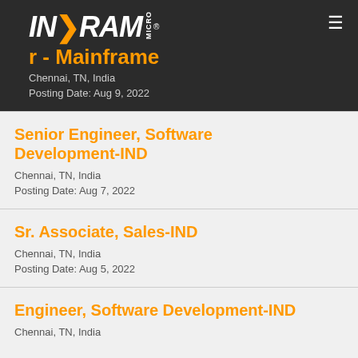INGRAM MICRO
...r - Mainframe
Chennai, TN, India
Posting Date: Aug 9, 2022
Senior Engineer, Software Development-IND
Chennai, TN, India
Posting Date: Aug 7, 2022
Sr. Associate, Sales-IND
Chennai, TN, India
Posting Date: Aug 5, 2022
Engineer, Software Development-IND
Chennai, TN, India